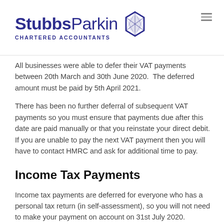[Figure (logo): StubbsParkin Chartered Accountants logo with geometric diamond/hexagon icon in dark blue/purple]
All businesses were able to defer their VAT payments between 20th March and 30th June 2020. The deferred amount must be paid by 5th April 2021.
There has been no further deferral of subsequent VAT payments so you must ensure that payments due after this date are paid manually or that you reinstate your direct debit. If you are unable to pay the next VAT payment then you will have to contact HMRC and ask for additional time to pay.
Income Tax Payments
Income tax payments are deferred for everyone who has a personal tax return (in self-assessment), so you will not need to make your payment on account on 31st July 2020.
This is automatically deferred, there is no requirement to do…